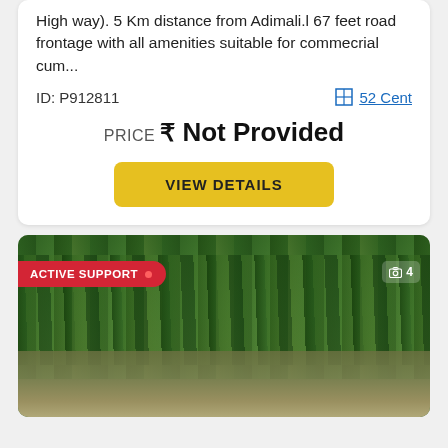High way). 5 Km distance from Adimali.l 67 feet road frontage with all amenities suitable for commecrial cum...
ID: P912811
52 Cent
PRICE ₹ Not Provided
VIEW DETAILS
[Figure (photo): Outdoor photo showing lush tropical vegetation including banana trees and other green plants behind a low stone/concrete wall, with a road in foreground. Red 'ACTIVE SUPPORT' badge top-left, photo count '4' top-right.]